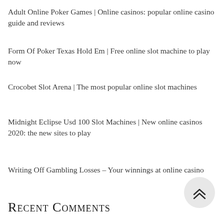Adult Online Poker Games | Online casinos: popular online casino guide and reviews
Form Of Poker Texas Hold Em | Free online slot machine to play now
Crocobet Slot Arena | The most popular online slot machines
Midnight Eclipse Usd 100 Slot Machines | New online casinos 2020: the new sites to play
Writing Off Gambling Losses – Your winnings at online casino
Recent Comments